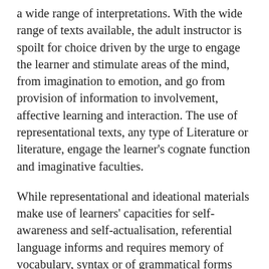a wide range of interpretations. With the wide range of texts available, the adult instructor is spoilt for choice driven by the urge to engage the learner and stimulate areas of the mind, from imagination to emotion, and go from provision of information to involvement, affective learning and interaction. The use of representational texts, any type of Literature or literature, engage the learner's cognate function and imaginative faculties.
While representational and ideational materials make use of learners' capacities for self-awareness and self-actualisation, referential language informs and requires memory of vocabulary, syntax or of grammatical forms acting as a very basic framework for communicative survival.  Referential language also does matter but learners need to be